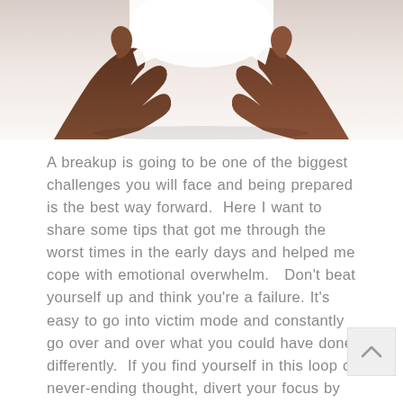[Figure (photo): Cropped photo of a person's dark-skinned hands holding up an open book or white object in a heart-like shape against a warm light background]
A breakup is going to be one of the biggest challenges you will face and being prepared is the best way forward.  Here I want to share some tips that got me through the worst times in the early days and helped me cope with emotional overwhelm.   Don't beat yourself up and think you're a failure. It's easy to go into victim mode and constantly go over and over what you could have done differently.  If you find yourself in this loop of never-ending thought, divert your focus by reading something uplifting, doing something which you have to really think